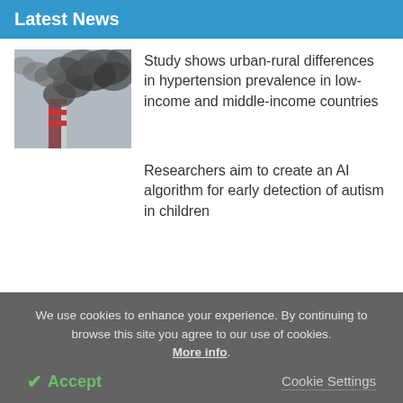Latest News
[Figure (photo): Industrial smokestacks emitting heavy dark smoke against a grey cloudy sky]
Study shows urban-rural differences in hypertension prevalence in low-income and middle-income countries
Researchers aim to create an AI algorithm for early detection of autism in children
We use cookies to enhance your experience. By continuing to browse this site you agree to our use of cookies. More info.
✔ Accept
Cookie Settings